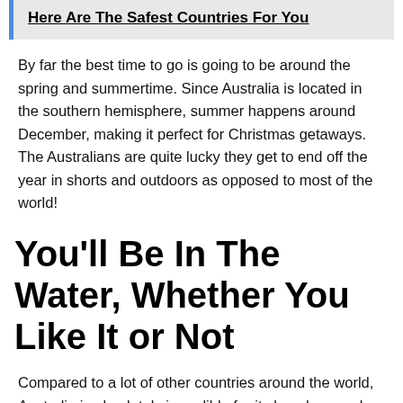Here Are The Safest Countries For You
By far the best time to go is going to be around the spring and summertime. Since Australia is located in the southern hemisphere, summer happens around December, making it perfect for Christmas getaways. The Australians are quite lucky they get to end off the year in shorts and outdoors as opposed to most of the world!
You'll Be In The Water, Whether You Like It or Not
Compared to a lot of other countries around the world, Australia is absolutely incredible for its beaches, and